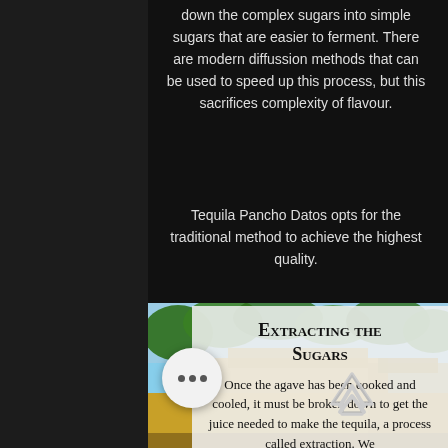down the complex sugars into simple sugars that are easier to ferment. There are modern diffussion methods that can be used to speed up this process, but this sacrifices complexity of flavour.
Tequila Pancho Datos opts for the traditional method to achieve the highest quality.
[Figure (photo): Outdoor photo of a tequila distillery or agave processing area, showing trees, sky, and industrial structures with yellow/orange tones.]
Extracting the Sugars
Once the agave has been cooked and cooled, it must be broken down to get the juice needed to make the tequila, a process called extraction. We